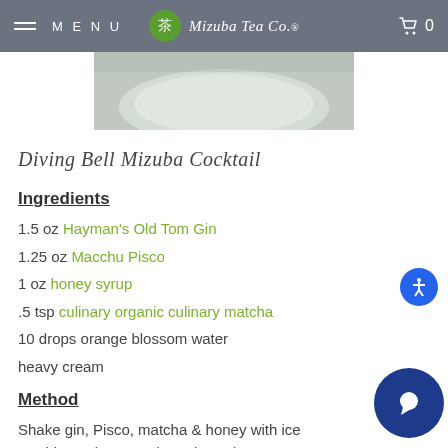MENU  Mizuba Tea Co.  0
[Figure (photo): Partial top view of a cocktail glass on a light background, cropped]
Diving Bell Mizuba Cocktail
Ingredients
1.5 oz Hayman's Old Tom Gin
1.25 oz Macchu Pisco
1 oz honey syrup
.5 tsp culinary organic culinary matcha
10 drops orange blossom water
heavy cream
Method
Shake gin, Pisco, matcha & honey with ice
Double strain over a large ice cube